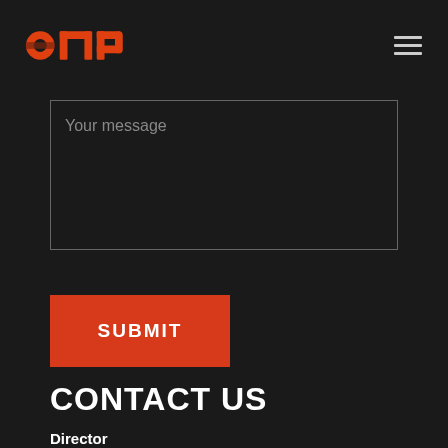[Figure (logo): OMP logo in orange/red tones with circular elements and hamburger menu icon on right]
Your message
SUBMIT
CONTACT US
Director
Josephine O'Gorman
0418 148 655
josephine@ompsports.com.au